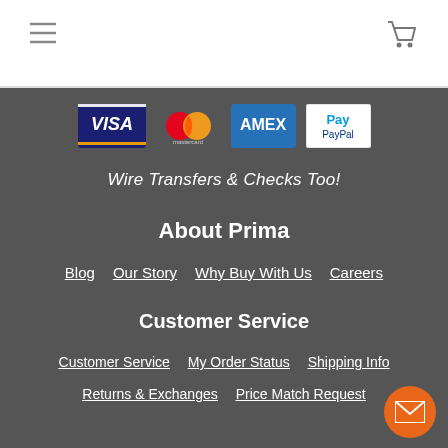Navigation header with hamburger menu and cart icon
[Figure (logo): Visa payment logo]
[Figure (logo): Mastercard payment logo]
[Figure (logo): American Express payment logo]
[Figure (logo): PayPal payment logo]
Wire Transfers & Checks Too!
About Prima
Blog
Our Story
Why Buy With Us
Careers
Customer Service
Customer Service
My Order Status
Shipping Info
Returns & Exchanges
Price Match Request